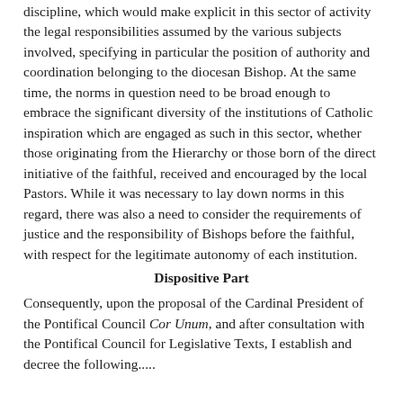discipline, which would make explicit in this sector of activity the legal responsibilities assumed by the various subjects involved, specifying in particular the position of authority and coordination belonging to the diocesan Bishop. At the same time, the norms in question need to be broad enough to embrace the significant diversity of the institutions of Catholic inspiration which are engaged as such in this sector, whether those originating from the Hierarchy or those born of the direct initiative of the faithful, received and encouraged by the local Pastors. While it was necessary to lay down norms in this regard, there was also a need to consider the requirements of justice and the responsibility of Bishops before the faithful, with respect for the legitimate autonomy of each institution.
Dispositive Part
Consequently, upon the proposal of the Cardinal President of the Pontifical Council Cor Unum, and after consultation with the Pontifical Council for Legislative Texts, I establish and decree the following.....
Art. 1.